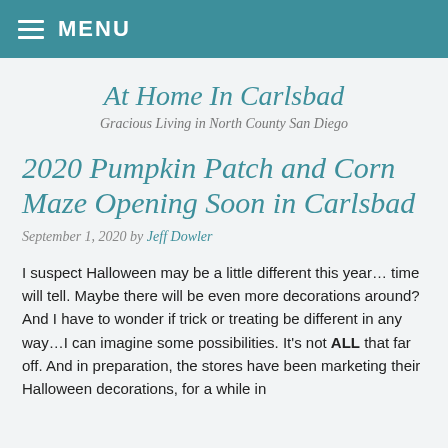MENU
At Home In Carlsbad
Gracious Living in North County San Diego
2020 Pumpkin Patch and Corn Maze Opening Soon in Carlsbad
September 1, 2020 by Jeff Dowler
I suspect Halloween may be a little different this year… time will tell. Maybe there will be even more decorations around? And I have to wonder if trick or treating be different in any way…I can imagine some possibilities. It's not ALL that far off. And in preparation, the stores have been marketing their Halloween decorations, for a while in